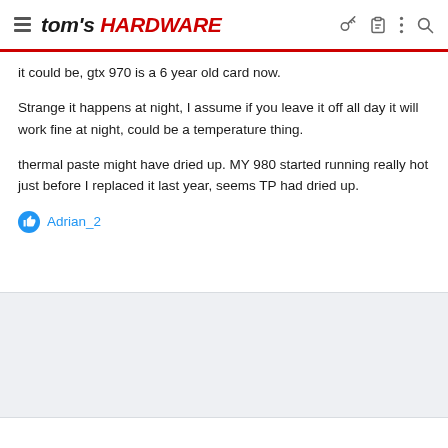tom's HARDWARE
it could be, gtx 970 is a 6 year old card now.
Strange it happens at night, I assume if you leave it off all day it will work fine at night, could be a temperature thing.
thermal paste might have dried up. MY 980 started running really hot just before I replaced it last year, seems TP had dried up.
Adrian_2